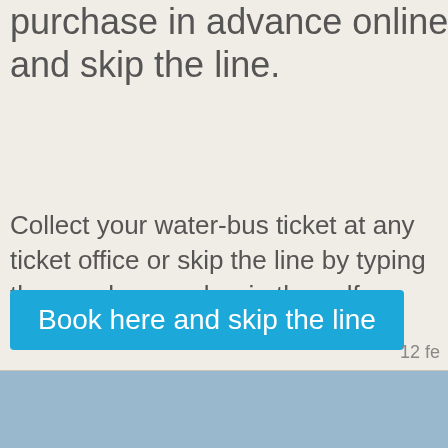purchase in advance online and skip the line.
Collect your water-bus ticket at any ticket office or skip the line by typing the voucher number in the self-service ticket machines.
Book here and skip the line
12 fe